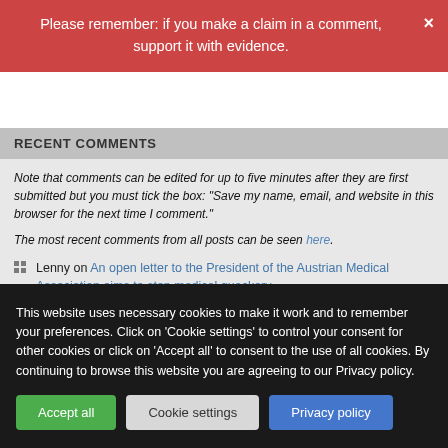Please remember: if you make a claim in a comment, support it with evidence.
Recent Comments
Note that comments can be edited for up to five minutes after they are first submitted but you must tick the box: "Save my name, email, and website in this browser for the next time I comment."
The most recent comments from all posts can be seen here.
Lenny on An open letter to the President of the Austrian Medical Association aims to stop medical quackery
Stephen Hicks on Can one kill babies with aromatherapy?
Old Bob on An open letter to the President of the Austrian Medical Association
This website uses necessary cookies to make it work and to remember your preferences. Click on 'Cookie settings' to control your consent for other cookies or click on 'Accept all' to consent to the use of all cookies. By continuing to browse this website you are agreeing to our Privacy policy.